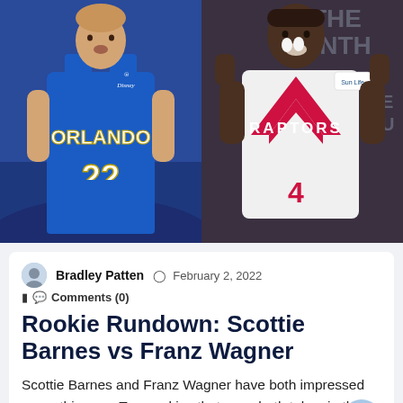[Figure (photo): Two-panel sports photo: left panel shows a player in Orlando Magic blue jersey #22 (Franz Wagner); right panel shows a player in Toronto Raptors white/red jersey (Scottie Barnes)]
Bradley Patten  |  February 2, 2022  |  Comments (0)
Rookie Rundown: Scottie Barnes vs Franz Wagner
Scottie Barnes and Franz Wagner have both impressed many this year. Two rookies that were both taken in the lottery that haven't looked